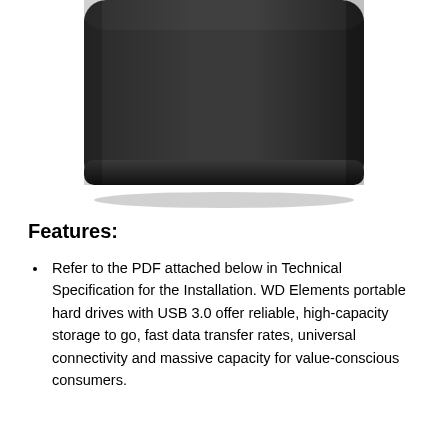[Figure (photo): Bottom portion of a black WD Elements portable hard drive, showing rounded corners and dark matte surface]
Features:
Refer to the PDF attached below in Technical Specification for the Installation. WD Elements portable hard drives with USB 3.0 offer reliable, high-capacity storage to go, fast data transfer rates, universal connectivity and massive capacity for value-conscious consumers.